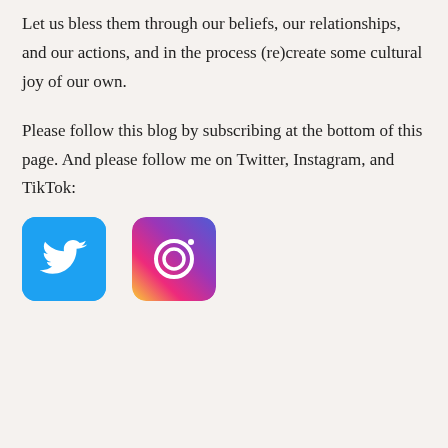Let us bless them through our beliefs, our relationships, and our actions, and in the process (re)create some cultural joy of our own.
Please follow this blog by subscribing at the bottom of this page. And please follow me on Twitter, Instagram, and TikTok:
[Figure (logo): Twitter logo — blue square with rounded corners and white bird icon]
[Figure (logo): Instagram logo — gradient square with rounded corners and camera icon]